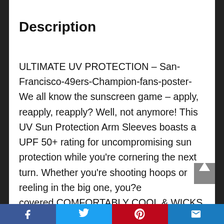Description
ULTIMATE UV PROTECTION – San-Francisco-49ers-Champion-fans-poster- We all know the sunscreen game – apply, reapply, reapply? Well, not anymore! This UV Sun Protection Arm Sleeves boasts a UPF 50+ rating for uncompromising sun protection while you're cornering the next turn. Whether you're shooting hoops or reeling in the big one, you?e covered.COMFORTABLY COOL & WICKS MOISTURE – The more you sweat, the cooler these arm sleeves get. Crazy, right? The
Facebook | Twitter | Pinterest | Email